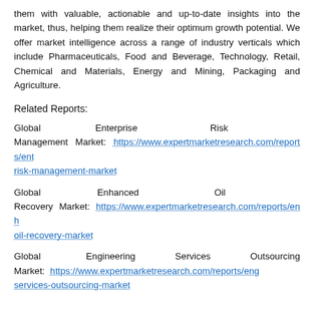them with valuable, actionable and up-to-date insights into the market, thus, helping them realize their optimum growth potential. We offer market intelligence across a range of industry verticals which include Pharmaceuticals, Food and Beverage, Technology, Retail, Chemical and Materials, Energy and Mining, Packaging and Agriculture.
Related Reports:
Global Enterprise Risk Management Market: https://www.expertmarketresearch.com/reports/enterprise-risk-management-market
Global Enhanced Oil Recovery Market: https://www.expertmarketresearch.com/reports/enhanced-oil-recovery-market
Global Engineering Services Outsourcing Market: https://www.expertmarketresearch.com/reports/engineering-services-outsourcing-market